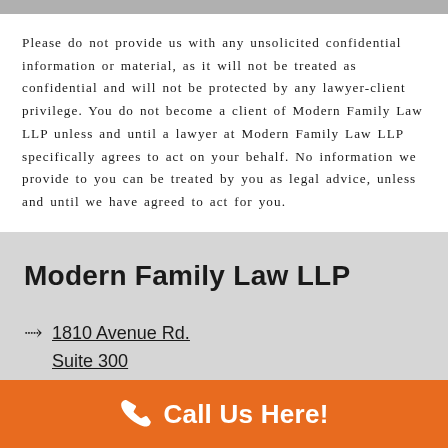Please do not provide us with any unsolicited confidential information or material, as it will not be treated as confidential and will not be protected by any lawyer-client privilege. You do not become a client of Modern Family Law LLP unless and until a lawyer at Modern Family Law LLP specifically agrees to act on your behalf. No information we provide to you can be treated by you as legal advice, unless and until we have agreed to act for you.
Modern Family Law LLP
1810 Avenue Rd.
Suite 300
Call Us Here!